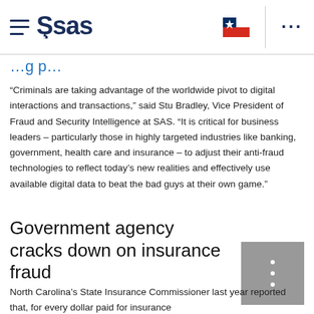SAS logo and navigation header
“Criminals are taking advantage of the worldwide pivot to digital interactions and transactions,” said Stu Bradley, Vice President of Fraud and Security Intelligence at SAS. “It is critical for business leaders – particularly those in highly targeted industries like banking, government, health care and insurance – to adjust their anti-fraud technologies to reflect today’s new realities and effectively use available digital data to beat the bad guys at their own game.”
Government agency cracks down on insurance fraud
North Carolina’s State Insurance Commissioner last year reported that, for every dollar paid for insurance